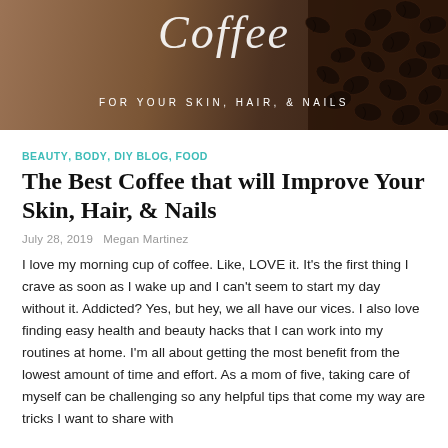[Figure (photo): Banner image with coffee beans on a brown background. Script text 'Coffee' at the top and subtitle text 'FOR YOUR SKIN, HAIR, & NAILS' below it in white capital letters.]
BEAUTY, BODY, DIY BLOG, FOOD
The Best Coffee that will Improve Your Skin, Hair, & Nails
July 28, 2019   Megan Martinez
I love my morning cup of coffee. Like, LOVE it. It's the first thing I crave as soon as I wake up and I can't seem to start my day without it. Addicted? Yes, but hey, we all have our vices. I also love finding easy health and beauty hacks that I can work into my routines at home. I'm all about getting the most benefit from the lowest amount of time and effort. As a mom of five, taking care of myself can be challenging so any helpful tips that come my way are tricks I want to share with